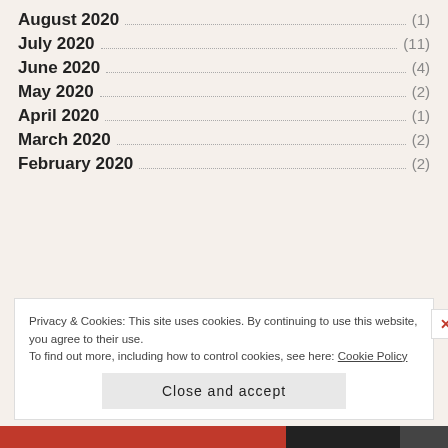August 2020 (1)
July 2020 (11)
June 2020 (4)
May 2020 (2)
April 2020 (1)
March 2020 (2)
February 2020 (2)
Privacy & Cookies: This site uses cookies. By continuing to use this website, you agree to their use. To find out more, including how to control cookies, see here: Cookie Policy
Close and accept